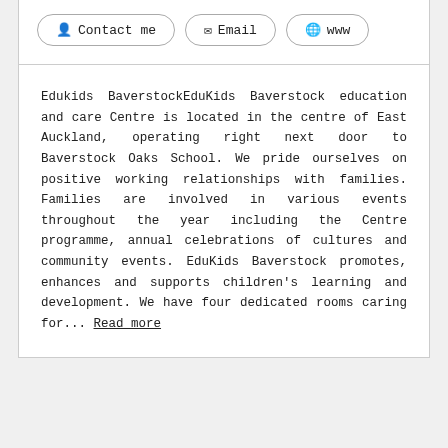Contact me | Email | www
Edukids BaverstockEduKids Baverstock education and care Centre is located in the centre of East Auckland, operating right next door to Baverstock Oaks School. We pride ourselves on positive working relationships with families. Families are involved in various events throughout the year including the Centre programme, annual celebrations of cultures and community events. EduKids Baverstock promotes, enhances and supports children’s learning and development. We have four dedicated rooms caring for... Read more